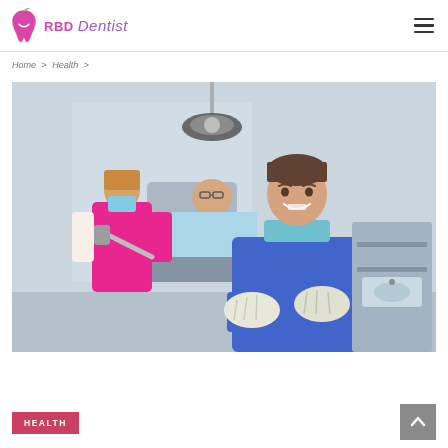RBD Dentist
Home > Health >
[Figure (photo): Dental office scene: a smiling female dentist in blue scrubs with gloves and surgical mask around her neck stands arms crossed in foreground; in background a dental assistant in pink scrubs works on a patient reclined in dental chair; dental equipment visible including overhead lamp and X-ray arm]
HEALTH